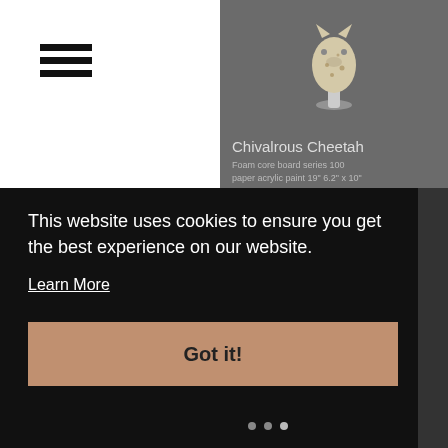[Figure (screenshot): Hamburger menu icon with three horizontal black lines]
[Figure (photo): Product card for Chivalrous Cheetah showing a figurine on a stand against a dark grey background]
Chivalrous Cheetah
Foam core board series 100 paper acrylic paint 19" 6.2" x 10"
Buy here
This website uses cookies to ensure you get the best experience on our website.
Learn More
Got it!